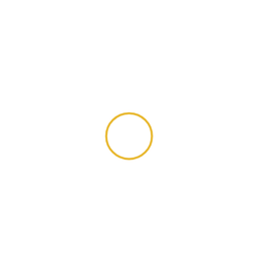[Figure (other): A simple circle with a golden/yellow outline on a white background, positioned slightly left of center and slightly above center of the page.]